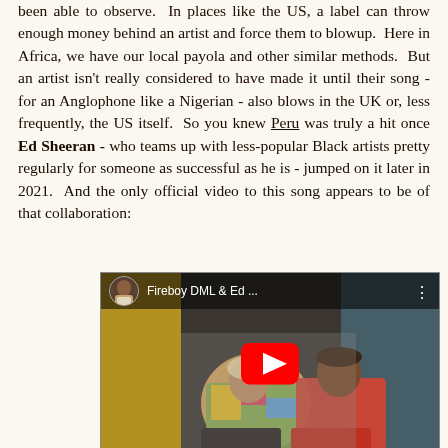been able to observe. In places like the US, a label can throw enough money behind an artist and force them to blowup. Here in Africa, we have our local payola and other similar methods. But an artist isn't really considered to have made it until their song - for an Anglophone like a Nigerian - also blows in the UK or, less frequently, the US itself. So you knew Peru was truly a hit once Ed Sheeran - who teams up with less-popular Black artists pretty regularly for someone as successful as he is - jumped on it later in 2021. And the only official video to this song appears to be of that collaboration:
[Figure (screenshot): YouTube video embed showing Fireboy DML & Ed Sheeran - Peru music video thumbnail with two men sitting together, one in colorful outfit and one in red, with a red YouTube play button in the center and a channel avatar in the top-left corner with text 'Fireboy DML & Ed ...' and three-dot menu icon.]